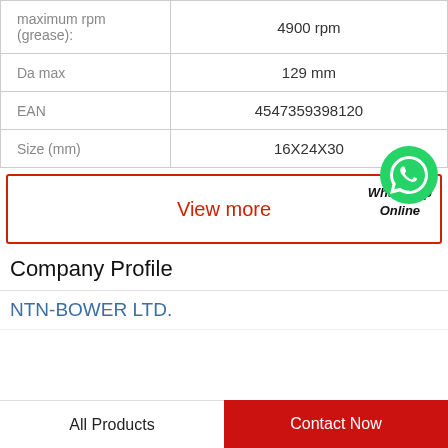| Property | Value |
| --- | --- |
| maximum rpm (grease): | 4900 rpm |
| Da max | 129 mm |
| EAN | 4547359398120 |
| Size (mm) | 16X24X30 |
View more
[Figure (logo): WhatsApp green phone icon with WhatsApp Online label]
Company Profile
NTN-BOWER LTD.
All Products
Contact Now